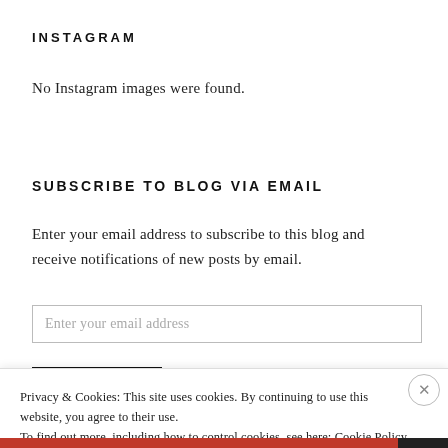INSTAGRAM
No Instagram images were found.
SUBSCRIBE TO BLOG VIA EMAIL
Enter your email address to subscribe to this blog and receive notifications of new posts by email.
Enter your email address
Privacy & Cookies: This site uses cookies. By continuing to use this website, you agree to their use.
To find out more, including how to control cookies, see here: Cookie Policy
Close and accept